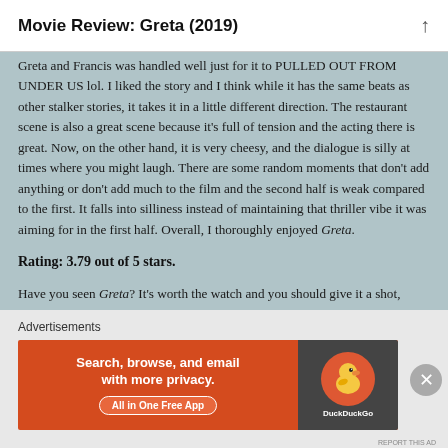Movie Review: Greta (2019)
Greta and Francis was handled well just for it to PULLED OUT FROM UNDER US lol. I liked the story and I think while it has the same beats as other stalker stories, it takes it in a little different direction. The restaurant scene is also a great scene because it's full of tension and the acting there is great. Now, on the other hand, it is very cheesy, and the dialogue is silly at times where you might laugh. There are some random moments that don't add anything or don't add much to the film and the second half is weak compared to the first. It falls into silliness instead of maintaining that thriller vibe it was aiming for in the first half. Overall, I thoroughly enjoyed Greta.
Rating: 3.79 out of 5 stars.
Have you seen Greta? It's worth the watch and you should give it a shot, especially if you enjoy thrillers. Let me know your thoughts down below if you have seen it.
Advertisements
[Figure (screenshot): DuckDuckGo advertisement banner: orange background with text 'Search, browse, and email with more privacy. All in One Free App' and DuckDuckGo logo on dark right panel]